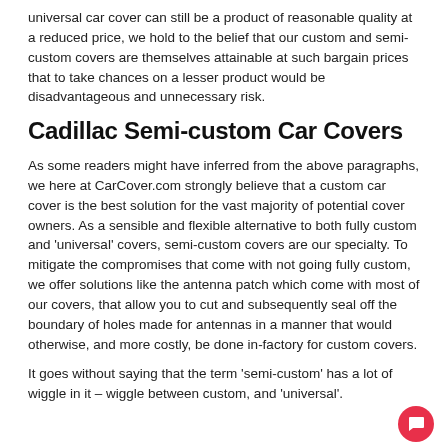universal car cover can still be a product of reasonable quality at a reduced price, we hold to the belief that our custom and semi-custom covers are themselves attainable at such bargain prices that to take chances on a lesser product would be disadvantageous and unnecessary risk.
Cadillac Semi-custom Car Covers
As some readers might have inferred from the above paragraphs, we here at CarCover.com strongly believe that a custom car cover is the best solution for the vast majority of potential cover owners. As a sensible and flexible alternative to both fully custom and 'universal' covers, semi-custom covers are our specialty. To mitigate the compromises that come with not going fully custom, we offer solutions like the antenna patch which come with most of our covers, that allow you to cut and subsequently seal off the boundary of holes made for antennas in a manner that would otherwise, and more costly, be done in-factory for custom covers.
It goes without saying that the term 'semi-custom' has a lot of wiggle in it – wiggle between custom, and 'universal'.